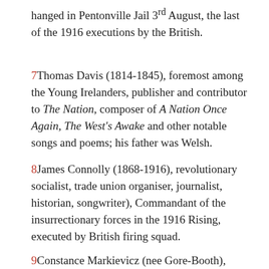hanged in Pentonville Jail 3rd August, the last of the 1916 executions by the British.
7Thomas Davis (1814-1845), foremost among the Young Irelanders, publisher and contributor to The Nation, composer of A Nation Once Again, The West's Awake and other notable songs and poems; his father was Welsh.
8James Connolly (1868-1916), revolutionary socialist, trade union organiser, journalist, historian, songwriter), Commandant of the insurrectionary forces in the 1916 Rising, executed by British firing squad.
9Constance Markievicz (nee Gore-Booth), (1868-1927),